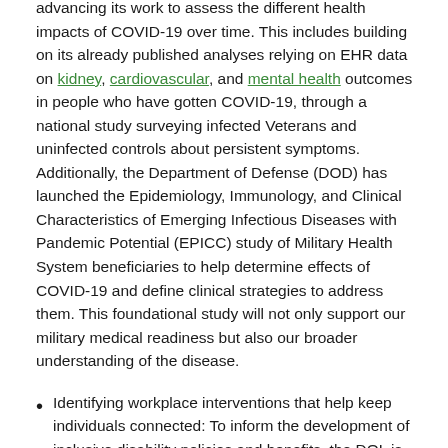advancing its work to assess the different health impacts of COVID-19 over time. This includes building on its already published analyses relying on EHR data on kidney, cardiovascular, and mental health outcomes in people who have gotten COVID-19, through a national study surveying infected Veterans and uninfected controls about persistent symptoms. Additionally, the Department of Defense (DOD) has launched the Epidemiology, Immunology, and Clinical Characteristics of Emerging Infectious Diseases with Pandemic Potential (EPICC) study of Military Health System beneficiaries to help determine effects of COVID-19 and define clinical strategies to address them. This foundational study will not only support our military medical readiness but also our broader understanding of the disease.
Identifying workplace interventions that help keep individuals connected: To inform the development of inclusive disability policies and benefits, the DOL is scaling it... to identify and interventions strategies for...